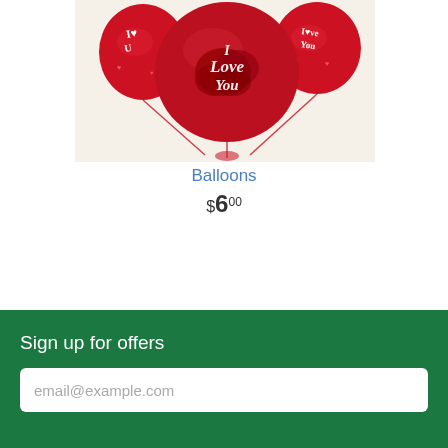[Figure (photo): Red 'I Love You' helium balloons bouquet with rose petals on a cream background]
Balloons
$6.00
Sign up for offers
email@example.com